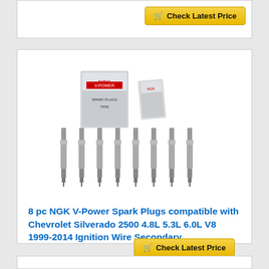[Figure (photo): Product image showing NGK V-Power spark plugs: packaging box and 8 individual spark plugs arranged in a row]
8 pc NGK V-Power Spark Plugs compatible with Chevrolet Silverado 2500 4.8L 5.3L 6.0L V8 1999-2014 Ignition Wire Secondary
[Figure (other): Check Latest Price button (top card)]
[Figure (other): Check Latest Price button (main card)]